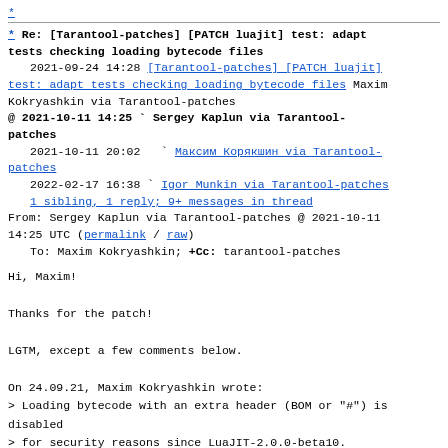*
* Re: [Tarantool-patches] [PATCH luajit] test: adapt tests checking loading bytecode files
  2021-09-24 14:28 [Tarantool-patches] [PATCH luajit] test: adapt tests checking loading bytecode files Maxim Kokryashkin via Tarantool-patches
@ 2021-10-11 14:25 ` Sergey Kaplun via Tarantool-patches
  2021-10-11 20:02   ` Максим Корякшин via Tarantool-patches
  2022-02-17 16:38 ` Igor Munkin via Tarantool-patches
  1 sibling, 1 reply; 9+ messages in thread
From: Sergey Kaplun via Tarantool-patches @ 2021-10-11 14:25 UTC (permalink / raw)
  To: Maxim Kokryashkin; +Cc: tarantool-patches
Hi, Maxim!

Thanks for the patch!

LGTM, except a few comments below.

On 24.09.21, Maxim Kokryashkin wrote:
> Loading bytecode with an extra header (BOM or "#") is disabled
> for security reasons since LuaJIT-2.0.0-beta10.
> For more information see comment for `lj_lex_setup()` in <src/lj_lex.c>.
> Also see commit 53a285c ('Disable